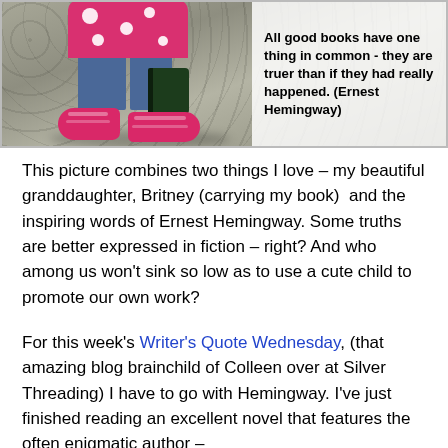[Figure (photo): Photo of a young child walking on pavement wearing a pink polka-dot top, jeans, and bright pink Croc shoes, carrying a dark book. Overlaid in the upper right is a white/translucent text box with a bold Hemingway quote: 'All good books have one thing in common - they are truer than if they had really happened. (Ernest Hemingway)']
This picture combines two things I love – my beautiful granddaughter, Britney (carrying my book)  and the inspiring words of Ernest Hemingway. Some truths are better expressed in fiction – right? And who among us won't sink so low as to use a cute child to promote our own work?
For this week's Writer's Quote Wednesday, (that amazing blog brainchild of Colleen over at Silver Threading) I have to go with Hemingway. I've just finished reading an excellent novel that features the often enigmatic author –